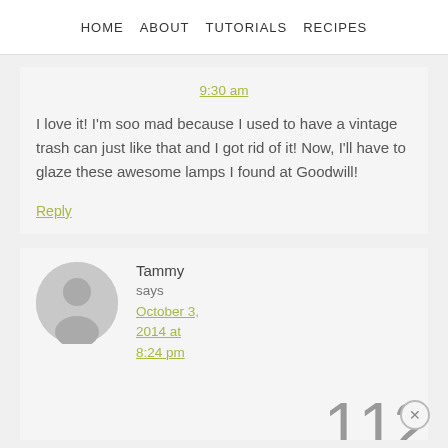HOME   ABOUT   TUTORIALS   RECIPES
9:30 am
I love it! I'm soo mad because I used to have a vintage trash can just like that and I got rid of it! Now, I'll have to glaze these awesome lamps I found at Goodwill!
Reply
Tammy says October 3, 2014 at 8:24 pm
[Figure (illustration): Gray avatar circle with person silhouette icon]